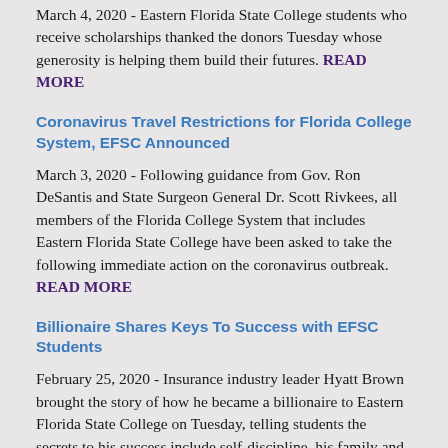March 4, 2020 - Eastern Florida State College students who receive scholarships thanked the donors Tuesday whose generosity is helping them build their futures. READ MORE
Coronavirus Travel Restrictions for Florida College System, EFSC Announced
March 3, 2020 - Following guidance from Gov. Ron DeSantis and State Surgeon General Dr. Scott Rivkees, all members of the Florida College System that includes Eastern Florida State College have been asked to take the following immediate action on the coronavirus outbreak. READ MORE
Billionaire Shares Keys To Success with EFSC Students
February 25, 2020 - Insurance industry leader Hyatt Brown brought the story of how he became a billionaire to Eastern Florida State College on Tuesday, telling students the secrets to his success include self-discipline, his family and a seven-day-a-week work habit. READ MORE
Brevard Achievement Center Supports the EFSC